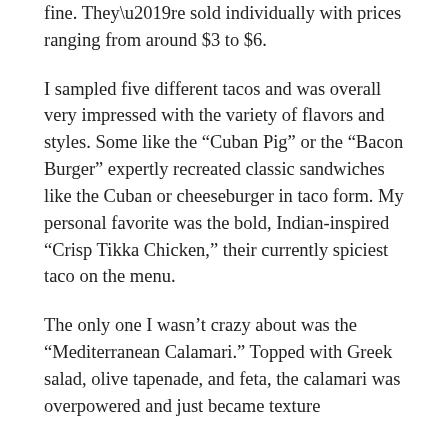fine. They're sold individually with prices ranging from around $3 to $6.
I sampled five different tacos and was overall very impressed with the variety of flavors and styles. Some like the “Cuban Pig” or the “Bacon Burger” expertly recreated classic sandwiches like the Cuban or cheeseburger in taco form. My personal favorite was the bold, Indian-inspired “Crisp Tikka Chicken,” their currently spiciest taco on the menu.
The only one I wasn’t crazy about was the “Mediterranean Calamari.” Topped with Greek salad, olive tapenade, and feta, the calamari was overpowered and just became texture